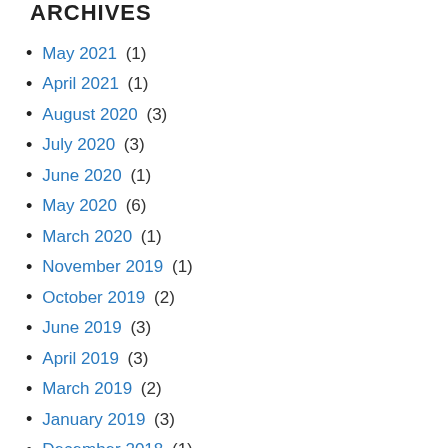ARCHIVES
May 2021 (1)
April 2021 (1)
August 2020 (3)
July 2020 (3)
June 2020 (1)
May 2020 (6)
March 2020 (1)
November 2019 (1)
October 2019 (2)
June 2019 (3)
April 2019 (3)
March 2019 (2)
January 2019 (3)
December 2018 (1)
August 2018 (1)